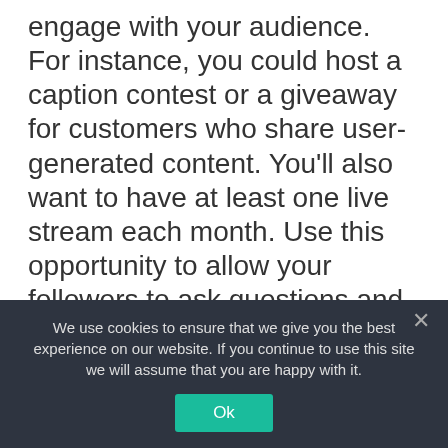engage with your audience. For instance, you could host a caption contest or a giveaway for customers who share user-generated content. You'll also want to have at least one live stream each month. Use this opportunity to allow your followers to ask questions and get to know your company through you. I've found that people are constantly seeking out fun and interactive content. Think outside the box and you'll have no problem growing your social presence. – John Turner, SeedProd LLC
We use cookies to ensure that we give you the best experience on our website. If you continue to use this site we will assume that you are happy with it.